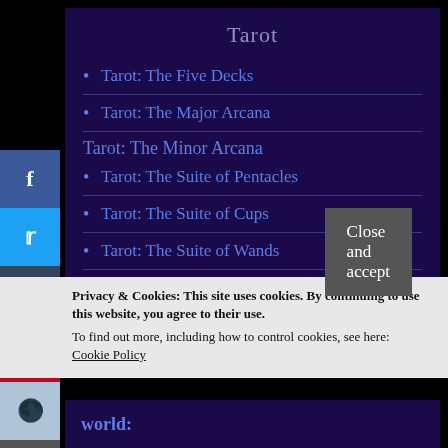Tarot
Tarot: The Five Decks
Tarot: The Major Arcana
Tarot: The Minor Arcana
Tarot: The Suite of Pentacles
Tarot: The Suite of Cups
Tarot: The Suite of Wands
Privacy & Cookies: This site uses cookies. By continuing to use this website, you agree to their use.
To find out more, including how to control cookies, see here: Cookie Policy
Close and accept
world: